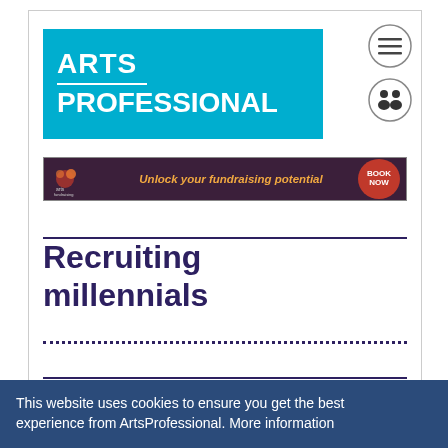[Figure (logo): Arts Professional logo — white text on cyan/teal background reading ARTS PROFESSIONAL with a horizontal white divider line]
[Figure (illustration): Two circular navigation icons with grey borders: top icon shows three horizontal lines (hamburger menu), bottom icon shows two people silhouette]
[Figure (infographic): Dark purple banner advertisement reading 'Unlock your fundraising potential' in orange italic text, with a small logo on the left and a red circular BOOK NOW button on the right]
Recruiting millennials
This website uses cookies to ensure you get the best experience from ArtsProfessional. More information